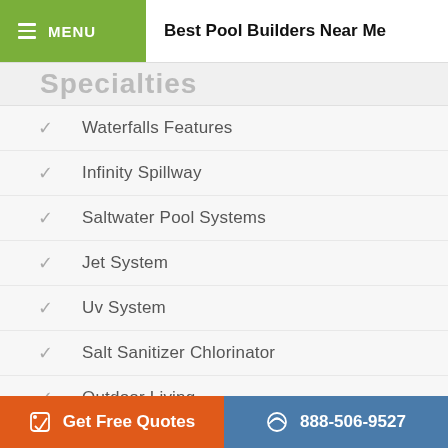MENU | Best Pool Builders Near Me
Specialties
Waterfalls Features
Infinity Spillway
Saltwater Pool Systems
Jet System
Uv System
Salt Sanitizer Chlorinator
Outdoor Living
Outdoor Kitchens
Pool Patios & Decks
Get Free Quotes | 888-506-9527